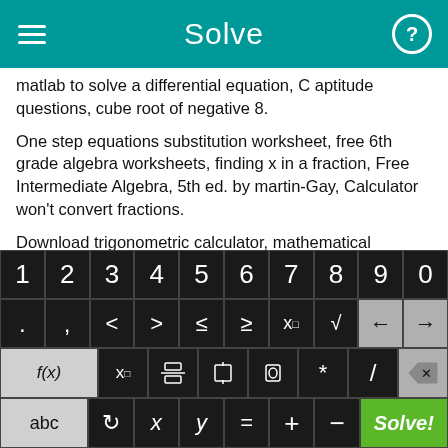Solve
matlab to solve a differential equation, C aptitude questions, cube root of negative 8.
One step equations substitution worksheet, free 6th grade algebra worksheets, finding x in a fraction, Free Intermediate Algebra, 5th ed. by martin-Gay, Calculator won't convert fractions.
Download trigonometric calculator, mathematical transposition filetype ppt, adding subtracting dividing and multiplying
[Figure (screenshot): On-screen math keyboard with rows: digits 1-0, symbols including . , < > ≤ ≥ x² √ and arrow keys, function keys f(x) x_□ fraction absolute-value parentheses * / backspace, and bottom row abc rotate x y = + – Solve! button]